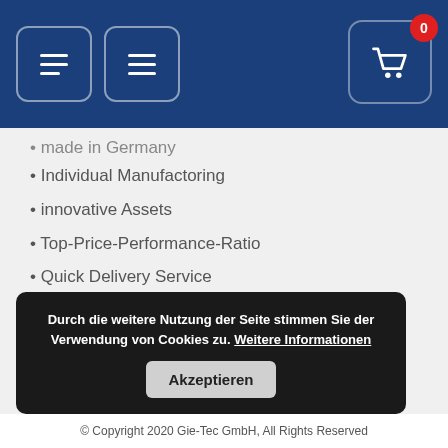Navigation header with menu buttons and shopping cart (0 items)
made in Germany (partial/faded)
Individual Manufactoring
innovative Assets
Top-Price-Performance-Ratio
Quick Delivery Service
Shipping and Payment
In Germany we deliver with our partner DHL. Machines are delivered to a street address.
Durch die weitere Nutzung der Seite stimmen Sie der Verwendung von Cookies zu. Weitere Informationen  [Akzeptieren]
© Copyright 2020 Gie-Tec GmbH, All Rights Reserved